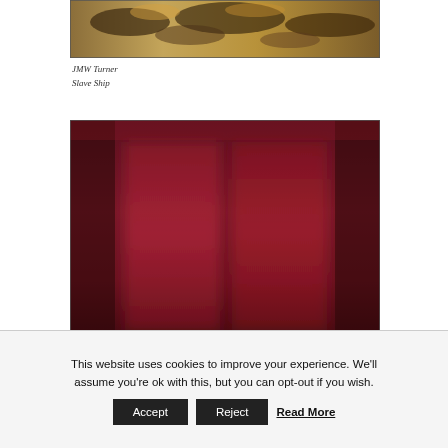[Figure (photo): Partial view of JMW Turner painting showing turbulent ocean scene with warm and dark tones]
JMW Turner
Slave Ship
[Figure (photo): Abstract painting with deep crimson/maroon background and two lighter rectangular vertical forms in the center — resembling a Rothko-style color field painting]
This website uses cookies to improve your experience. We'll assume you're ok with this, but you can opt-out if you wish.